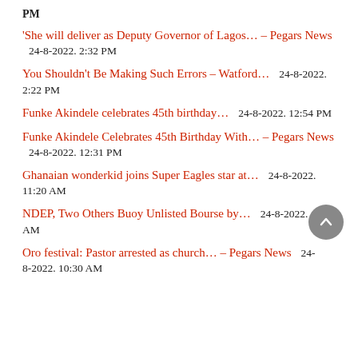PM
'She will deliver as Deputy Governor of Lagos... – Pegars News   24-8-2022. 2:32 PM
You Shouldn't Be Making Such Errors – Watford...   24-8-2022. 2:22 PM
Funke Akindele celebrates 45th birthday...   24-8-2022. 12:54 PM
Funke Akindele Celebrates 45th Birthday With... – Pegars News   24-8-2022. 12:31 PM
Ghanaian wonderkid joins Super Eagles star at...   24-8-2022. 11:20 AM
NDEP, Two Others Buoy Unlisted Bourse by...   24-8-2022. 11:18 AM
Oro festival: Pastor arrested as church... – Pegars News   24-8-2022. 10:30 AM